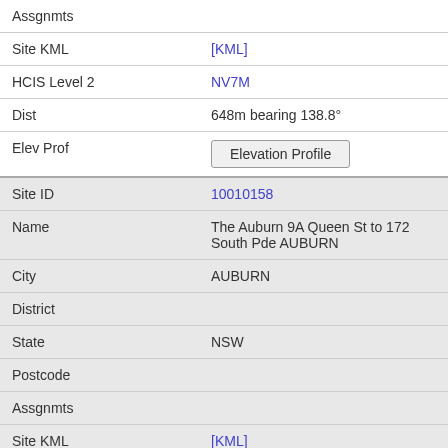| Assgnmts |  |
| Site KML | [KML] |
| HCIS Level 2 | NV7M |
| Dist | 648m bearing 138.8° |
| Elev Prof | Elevation Profile |
| Site ID | 10010158 |
| Name | The Auburn 9A Queen St to 172 South Pde AUBURN |
| City | AUBURN |
| District |  |
| State | NSW |
| Postcode |  |
| Assgnmts |  |
| Site KML | [KML] |
| HCIS Level 2 | NV7M |
| Dist | 671m bearing 136.2° |
| Elev Prof | Elevation Profile |